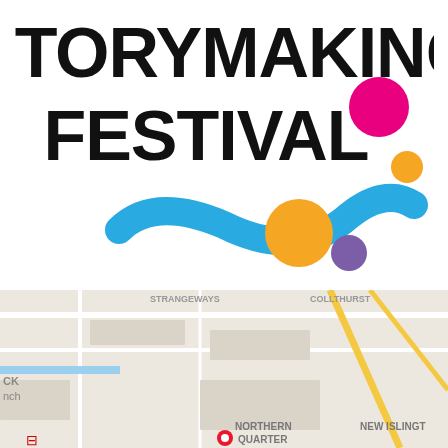[Figure (logo): Storymaking Festival logo with bold black text 'STORYMAKING FESTIVAL', colorful circles (magenta, orange, purple) and a blue wavy line underneath]
[Figure (screenshot): Screenshot of a Google Maps embed with a dialog box overlay reading 'Google / This page can't load Google Maps correctly. / Do you own this website? OK'. Map shows NORTHERN QUARTER and NEW ISLINGT[ON] area labels, with a red location pin.]